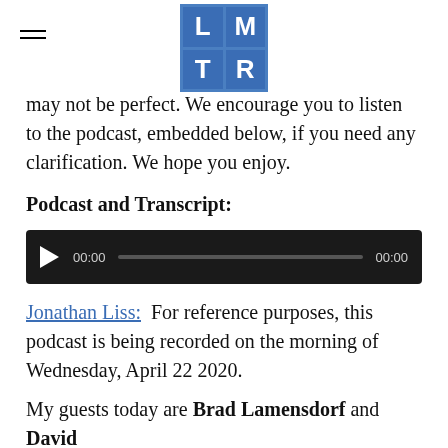LMTR logo with hamburger menu
may not be perfect. We encourage you to listen to the podcast, embedded below, if you need any clarification. We hope you enjoy.
Podcast and Transcript:
[Figure (other): Audio player with play button, 00:00 timestamp, progress bar, and 00:00 end time on dark background]
Jonathan Liss:  For reference purposes, this podcast is being recorded on the morning of Wednesday, April 22 2020.
My guests today are Brad Lamensdorf and David